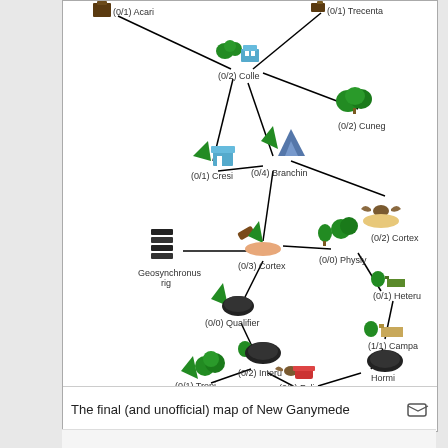[Figure (network-graph): A network/tree diagram labeled 'The final (and unofficial) map of New Ganymede'. Nodes include: Acari (0/1), Trecenta (0/1), Colle (0/2), Cuneg (0/2), Cresi (0/1), Branchin (0/4), Cortex (0/2), Geosynchronus rig, Cortex (0/3), Physiy (0/0), Heteru (0/1), Qualifier (0/0), Campa (1/1), Interu (0/2), Trepi (0/1), Hormi, Felicu (0/2), Quinden (0/1). Each node has a small icon. Nodes are connected by black lines showing relationships.]
The final (and unofficial) map of New Ganymede